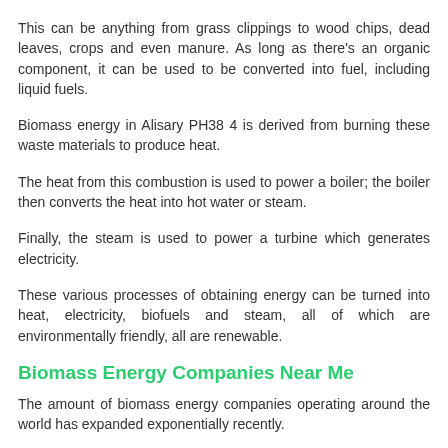This can be anything from grass clippings to wood chips, dead leaves, crops and even manure. As long as there's an organic component, it can be used to be converted into fuel, including liquid fuels.
Biomass energy in Alisary PH38 4 is derived from burning these waste materials to produce heat.
The heat from this combustion is used to power a boiler; the boiler then converts the heat into hot water or steam.
Finally, the steam is used to power a turbine which generates electricity.
These various processes of obtaining energy can be turned into heat, electricity, biofuels and steam, all of which are environmentally friendly, all are renewable.
Biomass Energy Companies Near Me
The amount of biomass energy companies operating around the world has expanded exponentially recently.